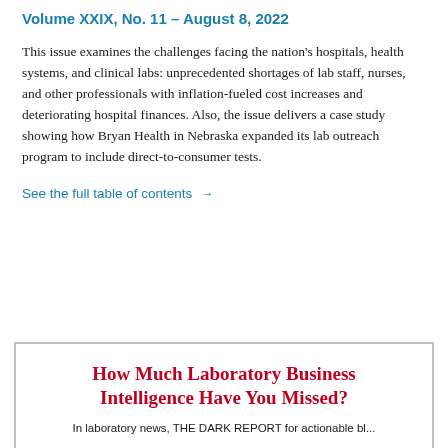Volume XXIX, No. 11 – August 8, 2022
This issue examines the challenges facing the nation's hospitals, health systems, and clinical labs: unprecedented shortages of lab staff, nurses, and other professionals with inflation-fueled cost increases and deteriorating hospital finances. Also, the issue delivers a case study showing how Bryan Health in Nebraska expanded its lab outreach program to include direct-to-consumer tests.
See the full table of contents →
How Much Laboratory Business Intelligence Have You Missed?
In laboratory news, THE DARK REPORT for actionable bl...